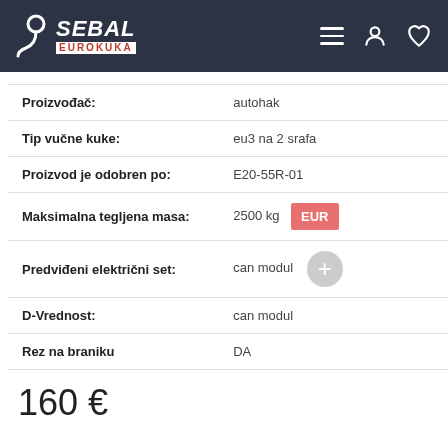Sebal Eurokuka - navigation header
| Attribute | Value |
| --- | --- |
| Proizvođač: | autohak |
| Tip vučne kuke: | eu3 na 2 srafa |
| Proizvod je odobren po: | E20-55R-01 |
| Maksimalna tegljena masa: | 2500 kg |
| Predviđeni električni set: | can modul |
| D-Vrednost: | can modul |
| Rez na braniku | DA |
160 €